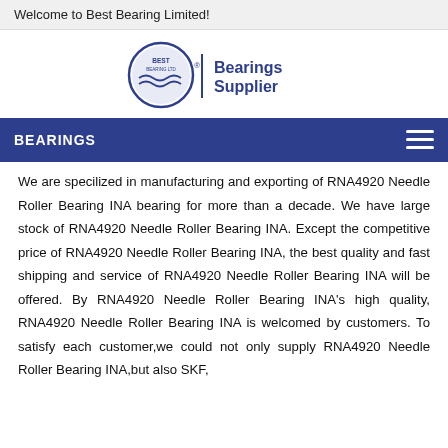Welcome to Best Bearing Limited!
[Figure (logo): Best Bearing Ltd circular logo with wave design and text 'Bearings Supplier' in dark blue]
BEARINGS
We are specilized in manufacturing and exporting of RNA4920 Needle Roller Bearing INA bearing for more than a decade. We have large stock of RNA4920 Needle Roller Bearing INA. Except the competitive price of RNA4920 Needle Roller Bearing INA, the best quality and fast shipping and service of RNA4920 Needle Roller Bearing INA will be offered. By RNA4920 Needle Roller Bearing INA's high quality, RNA4920 Needle Roller Bearing INA is welcomed by customers. To satisfy each customer,we could not only supply RNA4920 Needle Roller Bearing INA,but also SKF,